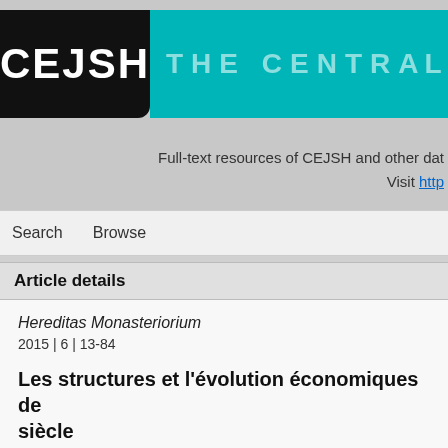[Figure (logo): CEJSH logo: black rounded rectangle with white bold text 'CEJSH', next to a teal banner with faded white text 'THE CENTRAL EURO...']
Full-text resources of CEJSH and other dat... Visit http...
Search   Browse
Article details
Hereditas Monasteriorium
2015 | 6 | 13-84
Les structures et l'évolution économiques de... siècle